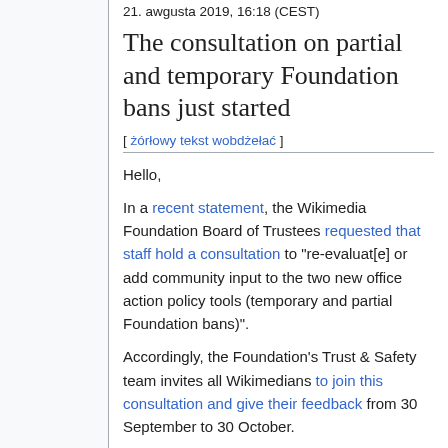21. awgusta 2019, 16:18 (CEST)
The consultation on partial and temporary Foundation bans just started
[ żórłowy tekst wobdżełać ]
Hello,
In a recent statement, the Wikimedia Foundation Board of Trustees requested that staff hold a consultation to "re-evaluat[e] or add community input to the two new office action policy tools (temporary and partial Foundation bans)".
Accordingly, the Foundation's Trust & Safety team invites all Wikimedians to join this consultation and give their feedback from 30 September to 30 October.